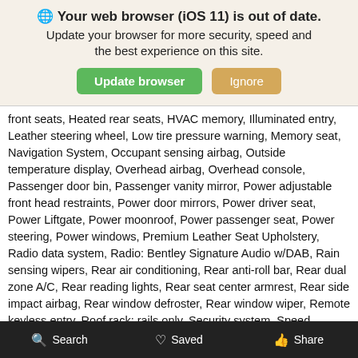🌐 Your web browser (iOS 11) is out of date. Update your browser for more security, speed and the best experience on this site.
front seats, Heated rear seats, HVAC memory, Illuminated entry, Leather steering wheel, Low tire pressure warning, Memory seat, Navigation System, Occupant sensing airbag, Outside temperature display, Overhead airbag, Overhead console, Passenger door bin, Passenger vanity mirror, Power adjustable front head restraints, Power door mirrors, Power driver seat, Power Liftgate, Power moonroof, Power passenger seat, Power steering, Power windows, Premium Leather Seat Upholstery, Radio data system, Radio: Bentley Signature Audio w/DAB, Rain sensing wipers, Rear air conditioning, Rear anti-roll bar, Rear dual zone A/C, Rear reading lights, Rear seat center armrest, Rear side impact airbag, Rear window defroster, Rear window wiper, Remote keyless entry, Roof rack: rails only, Security system, Speed control, Speed-sensing steering, Split folding rear seat, Spoiler, Steering wheel memory, Steering wheel mounted audio controls, Tachometer, Telescoping steering wheel, Tilt steering wheel, Traction control, Trip computer, Turn signal indicator mirrors, Variably intermittent wipers, Voltmeter, and Wheels: 21" 5 Twin-Spoke
Search   Saved   Share